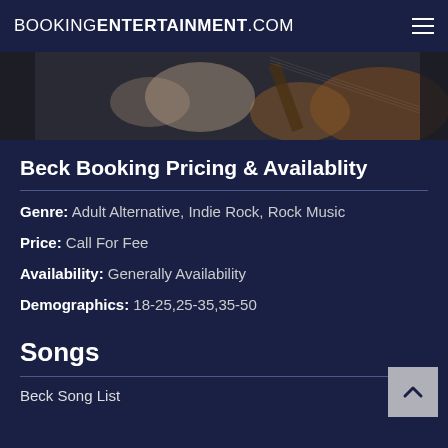BOOKINGENTERTAINMENT.COM
[Figure (photo): Photo of a person playing a guitar, partially visible, dark background]
Beck Booking Pricing & Availablity
Genre: Adult Alternative, Indie Rock, Rock Music
Price: Call For Fee
Availability: Generally Availability
Demographics: 18-25,25-35,35-50
Songs
Beck Song List